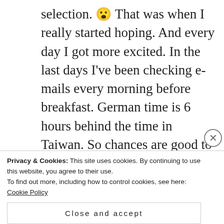selection. 😮 That was when I really started hoping. And every day I got more excited. In the last days I've been checking e-mails every morning before breakfast. German time is 6 hours behind the time in Taiwan. So chances are good to get news when waking up here. Today I finally received the news: My name is on the list of participants!!! I am so relieved! 🙂
[Figure (other): Advertisement banner showing two podcast-related logos: a red/green geometric logo with text 'podcast lovers.' and a Pocketcasts logo with red swirl icon and text 'Pocket Casts']
On the facebook page of Say Taiwan many applicants
Privacy & Cookies: This site uses cookies. By continuing to use this website, you agree to their use.
To find out more, including how to control cookies, see here: Cookie Policy
Close and accept